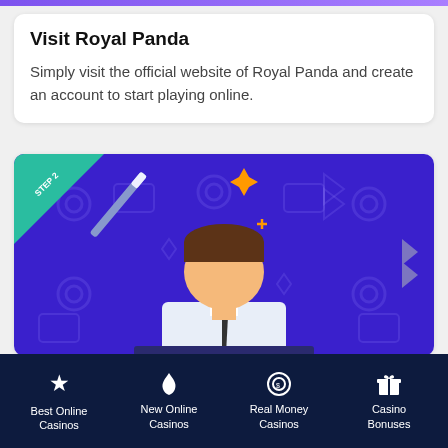Visit Royal Panda
Simply visit the official website of Royal Panda and create an account to start playing online.
[Figure (illustration): Step 2 illustration showing a person in a suit with a magic wand and sparkles on a purple background with casino icons]
Best Online Casinos | New Online Casinos | Real Money Casinos | Casino Bonuses